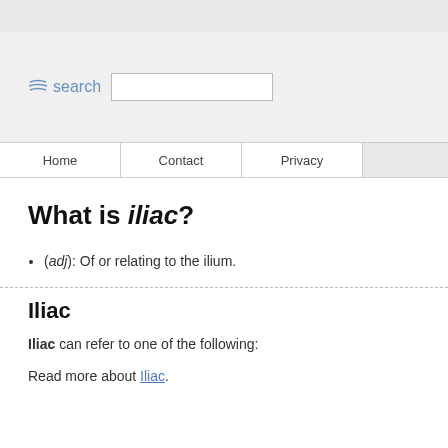[Figure (screenshot): Search bar area with waves icon and search label and text input box]
Home | Contact | Privacy
What is iliac?
(adj): Of or relating to the ilium.
Iliac
Iliac can refer to one of the following:
Read more about Iliac.